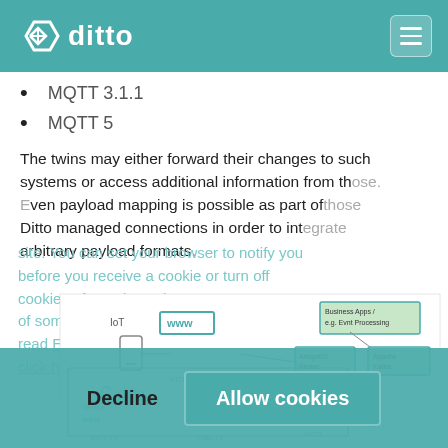ditto
MQTT 3.1.1
MQTT 5
The twins may either forward their changes to such systems or access additional information from those. Even payload mapping is possible as part of Ditto managed connections in order to integrate arbitrary payload formats.
ose. those e grate
site. You can set your browser to notify you before you receive a cookie or turn off cookies. If you do so, however, some areas of some sites may not function properly. To read Eclipse Foundation Privacy Policy click here.
[Figure (schematic): Eclipse Ditto architecture diagram showing IoT device twins, HTTP/WebSocket connections, AMQP 1.0, Kafka 2.x, MQTT connections to backend services including Apache Kafka broker and Business Apps/Event Processing components.]
Decline   Allow cookies